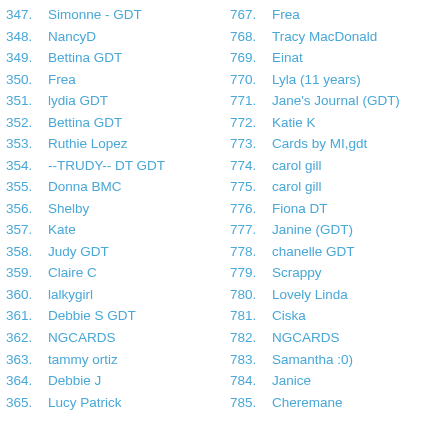347.  Simonne - GDT
348.  NancyD
349.  Bettina GDT
350.  Frea
351.  lydia GDT
352.  Bettina GDT
353.  Ruthie Lopez
354.  --TRUDY-- DT GDT
355.  Donna BMC
356.  Shelby
357.  Kate
358.  Judy GDT
359.  Claire C
360.  lalkygirl
361.  Debbie S GDT
362.  NGCARDS
363.  tammy ortiz
364.  Debbie J
365.  Lucy Patrick
767.  Frea
768.  Tracy MacDonald
769.  Einat
770.  Lyla (11 years)
771.  Jane's Journal (GDT)
772.  Katie K
773.  Cards by MI,gdt
774.  carol gill
775.  carol gill
776.  Fiona DT
777.  Janine (GDT)
778.  chanelle GDT
779.  Scrappy
780.  Lovely Linda
781.  Ciska
782.  NGCARDS
783.  Samantha :0)
784.  Janice
785.  Cheremane